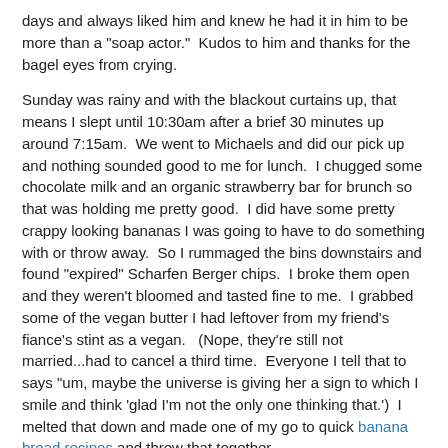days and always liked him and knew he had it in him to be more than a "soap actor."  Kudos to him and thanks for the bagel eyes from crying.
Sunday was rainy and with the blackout curtains up, that means I slept until 10:30am after a brief 30 minutes up around 7:15am.  We went to Michaels and did our pick up and nothing sounded good to me for lunch.  I chugged some chocolate milk and an organic strawberry bar for brunch so that was holding me pretty good.  I did have some pretty crappy looking bananas I was going to have to do something with or throw away.  So I rummaged the bins downstairs and found "expired" Scharfen Berger chips.  I broke them open and they weren't bloomed and tasted fine to me.  I grabbed some of the vegan butter I had leftover from my friend's fiance's stint as a vegan.   (Nope, they're still not married...had to cancel a third time.  Everyone I tell that to says "um, maybe the universe is giving her a sign to which I smile and think 'glad I'm not the only one thinking that.')  I melted that down and made one of my go to quick banana bread recipes and threw that together.